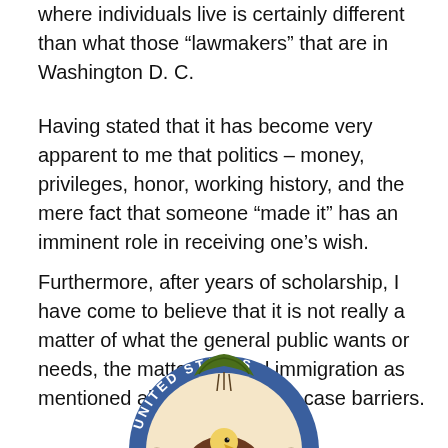where individuals live is certainly different than what those “lawmakers” that are in Washington D. C.
Having stated that it has become very apparent to me that politics – money, privileges, honor, working history, and the mere fact that someone “made it” has an imminent role in receiving one’s wish.
Furthermore, after years of scholarship, I have come to believe that it is not really a matter of what the general public wants or needs, the matters behind immigration as mentioned above are the real case barriers.
[Figure (illustration): Partial view of the United States government seal showing an eagle with shield, olive branch and arrows, surrounded by the text 'UNITED STATES' on a blue banner ring, with decorative green elements at the top.]